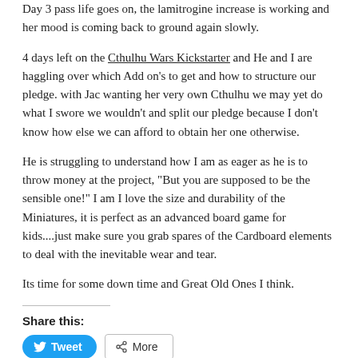Day 3 pass life goes on, the lamitrogine increase is working and her mood is coming back to ground again slowly.
4 days left on the Cthulhu Wars Kickstarter and He and I are haggling over which Add on's to get and how to structure our pledge. with Jac wanting her very own Cthulhu we may yet do what I swore we wouldn't and split our pledge because I don't know how else we can afford to obtain her one otherwise.
He is struggling to understand how I am as eager as he is to throw money at the project, "But you are supposed to be the sensible one!" I am I love the size and durability of the Miniatures, it is perfect as an advanced board game for kids....just make sure you grab spares of the Cardboard elements to deal with the inevitable wear and tear.
Its time for some down time and Great Old Ones I think.
Share this:
Tweet   More
Like